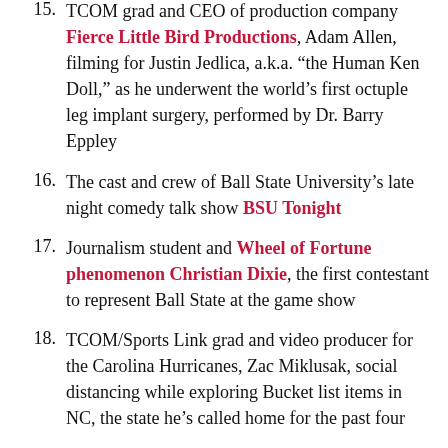15. TCOM grad and CEO of production company Fierce Little Bird Productions, Adam Allen, filming for Justin Jedlica, a.k.a. "the Human Ken Doll," as he underwent the world's first octuple leg implant surgery, performed by Dr. Barry Eppley
16. The cast and crew of Ball State University's late night comedy talk show BSU Tonight
17. Journalism student and Wheel of Fortune phenomenon Christian Dixie, the first contestant to represent Ball State at the game show
18. TCOM/Sports Link grad and video producer for the Carolina Hurricanes, Zac Miklusak, social distancing while exploring Bucket list items in NC, the state he's called home for the past four